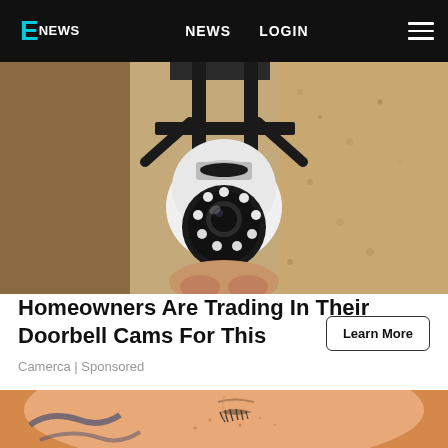E! NEWS  NEWS  LOGIN
[Figure (photo): Close-up photo of a smart security camera installed in a black outdoor light fixture mounted on a textured beige stucco wall. The camera is white and round with LED lights.]
Homeowners Are Trading In Their Doorbell Cams For This
Camerca | Sponsored
[Figure (photo): Close-up photo of a person's face with eyes closed, showing freckled skin and a tattoo visible on the shoulder/chest area. Blurred orange background.]